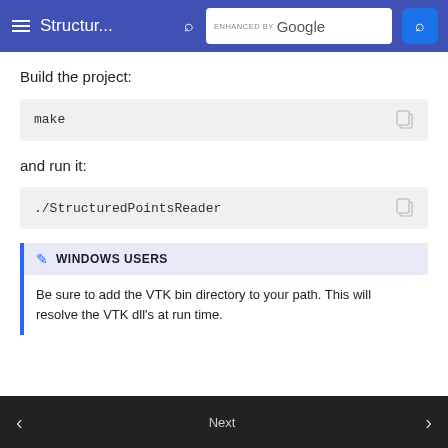Structur... | ENHANCED BY Google
Build the project:
make
and run it:
./StructuredPointsReader
WINDOWS USERS
Be sure to add the VTK bin directory to your path. This will resolve the VTK dll's at run time.
Next